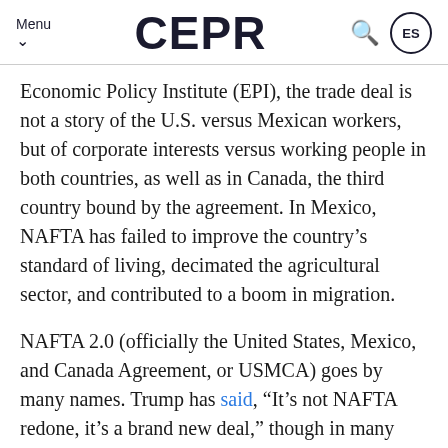Menu  CEPR  ES
Economic Policy Institute (EPI), the trade deal is not a story of the U.S. versus Mexican workers, but of corporate interests versus working people in both countries, as well as in Canada, the third country bound by the agreement. In Mexico, NAFTA has failed to improve the country's standard of living, decimated the agricultural sector, and contributed to a boom in migration.
NAFTA 2.0 (officially the United States, Mexico, and Canada Agreement, or USMCA) goes by many names. Trump has said, “It’s not NAFTA redone, it’s a brand new deal,” though in many ways the agreement is largely a rebranding of the original. Canada is referring to it as CUSMA, putting Canada’s name first, while Mexico is calling it the Tratado entre México Estados Unidos y Canadá (Treaty